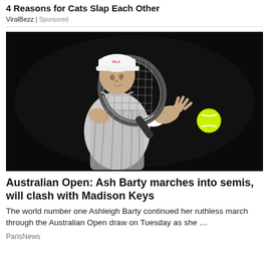4 Reasons for Cats Slap Each Other
ViralBezz | Sponsored
[Figure (photo): Tennis player Ash Barty hitting a backhand shot against a dark background, with a yellow tennis ball visible to the right]
Australian Open: Ash Barty marches into semis, will clash with Madison Keys
The world number one Ashleigh Barty continued her ruthless march through the Australian Open draw on Tuesday as she …
ParisNews